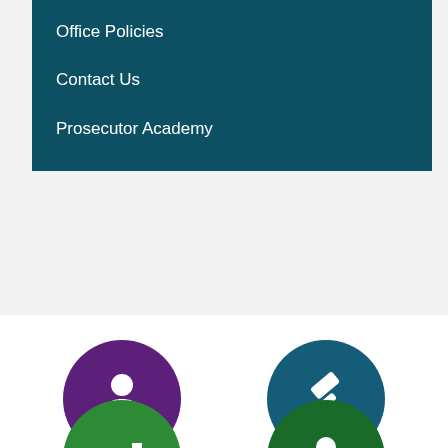Office Policies
Contact Us
Prosecutor Academy
[Figure (illustration): Purple circle icon with white person/lawyer silhouette representing Proposition 64 Relief]
Proposition 64 Relief
[Figure (illustration): Dark teal circle icon with white judge gavel representing Subpoena Confirmation]
Subpoena Confirmation
[Figure (illustration): Green circle icon with white bar chart icon, partially visible at bottom]
[Figure (illustration): Dark green circle icon with white person silhouette, partially visible at bottom]